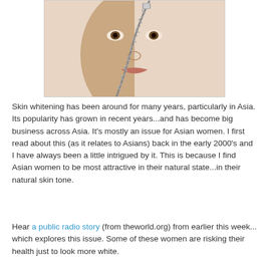[Figure (photo): A woman's face with a zipper running diagonally across it, illustrating skin tone contrast — one side appears darker, the other lighter, representing skin whitening concept.]
Skin whitening has been around for many years, particularly in Asia. Its popularity has grown in recent years...and has become big business across Asia. It's mostly an issue for Asian women. I first read about this (as it relates to Asians) back in the early 2000's and I have always been a little intrigued by it. This is because I find Asian women to be most attractive in their natural state...in their natural skin tone.
Hear a public radio story (from theworld.org) from earlier this week... which explores this issue. Some of these women are risking their health just to look more white.